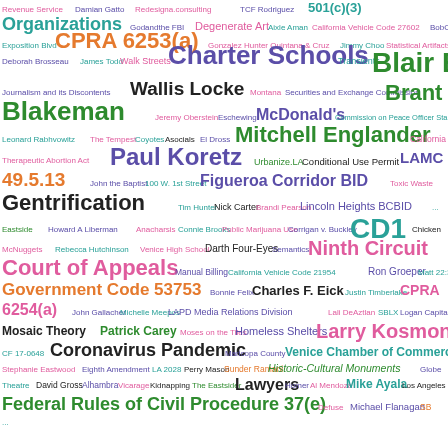[Figure (infographic): Tag cloud / word cloud containing legal, governmental, and proper noun terms in various font sizes and colors (teal, green, purple, orange, pink, black, cyan, etc.). Larger terms include: Blair Besten, Charter Schools, Brant Blakeman, Mitchell Englander, Paul Koretz, LAMC 49.5.13, Figueroa Corridor BID, Gentrification, CD1, Ninth Circuit, Court of Appeals, Government Code 53753, Larry Kosmont, Coronavirus Pandemic, Federal Rules of Civil Procedure 37(e), and many others.]